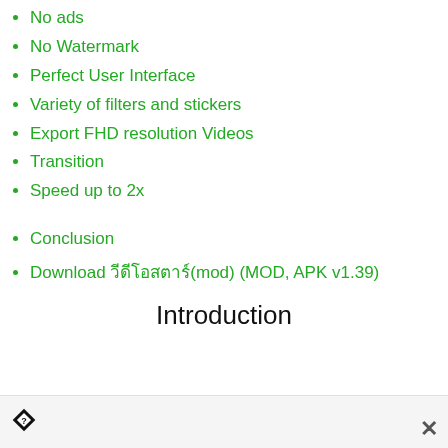No ads
No Watermark
Perfect User Interface
Variety of filters and stickers
Export FHD resolution Videos
Transition
Speed up to 2x
Conclusion
Download วีดีโอสตาร์(mod) (MOD, APK v1.39)
Introduction